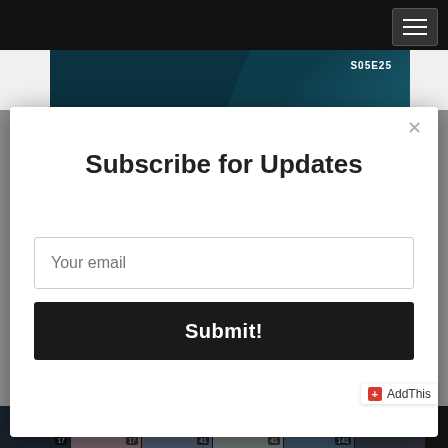[Figure (screenshot): Website screenshot showing a banner with text 'S05E25' and '"One Dad's Autism Parenting Journey"' on a dark teal background, with a hamburger menu button in the top right corner.]
Subscribe for Updates
Your email
Submit!
[Figure (screenshot): Bottom thumbnail strip showing six small preview images from the website.]
AddThis